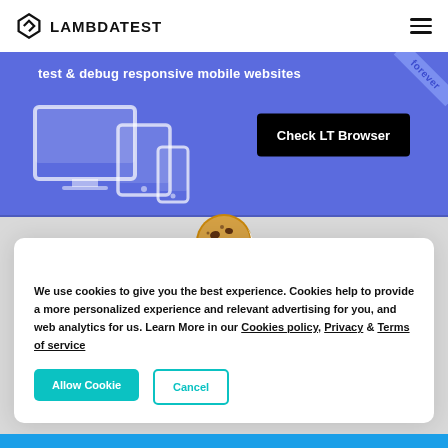LAMBDATEST
[Figure (screenshot): LambdaTest banner with text 'test & debug responsive mobile websites' and a 'Check LT Browser' button on blue background with device illustrations]
[Figure (illustration): Cookie emoji icon]
We use cookies to give you the best experience. Cookies help to provide a more personalized experience and relevant advertising for you, and web analytics for us. Learn More in our Cookies policy, Privacy & Terms of service
Allow Cookie
Cancel